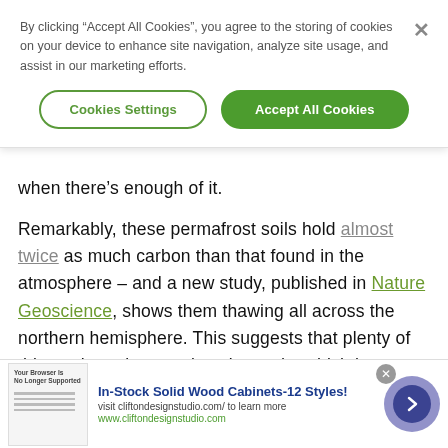By clicking “Accept All Cookies”, you agree to the storing of cookies on your device to enhance site navigation, analyze site usage, and assist in our marketing efforts.
Cookies Settings | Accept All Cookies
when there’s enough of it.
Remarkably, these permafrost soils hold almost twice as much carbon than that found in the atmosphere – and a new study, published in Nature Geoscience, shows them thawing all across the northern hemisphere. This suggests that plenty of this methane is escaping skywards, which has
In-Stock Solid Wood Cabinets-12 Styles!
visit cliftondesignstudio.com/ to learn more
www.cliftondesignstudio.com